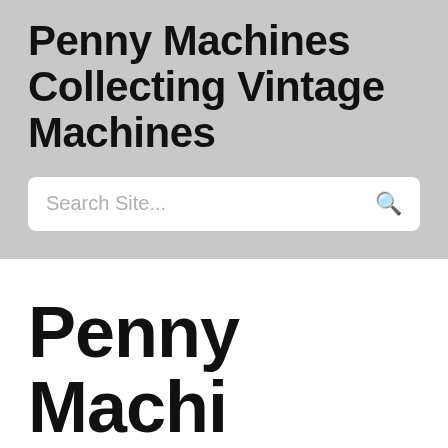Penny Machines Collecting Vintage Machines
Search Site...
Penny Machines